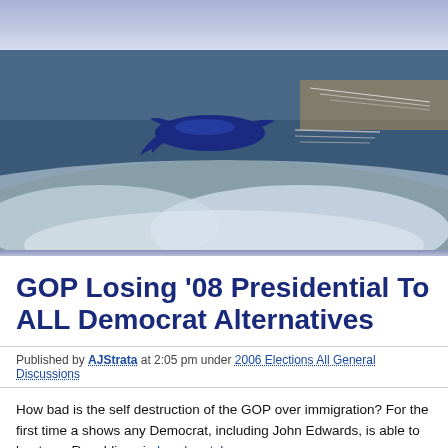[Figure (photo): Aerial photo of Earth from high altitude showing ocean and clouds, with a blue bird/aircraft logo in the center.]
GOP Losing '08 Presidential To ALL Democrat Alternatives
Published by AJStrata at 2:05 pm under 2006 Elections All General Discussions
How bad is the self destruction of the GOP over immigration? For the first time a shows any Democrat, including John Edwards, is able to beat any Republican in head matchups:
Gallup: Edwards 50 – Giuliani 45